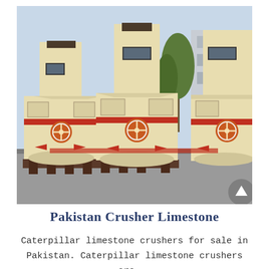[Figure (photo): Three large cream/beige colored limestone crusher machines with red accents and orange circular emblems, sitting on dark metal frames outdoors. Industrial crushing equipment lined up side by side in a factory yard with buildings and trees visible in the background.]
Pakistan Crusher Limestone
Caterpillar limestone crushers for sale in Pakistan. Caterpillar limestone crushers are...